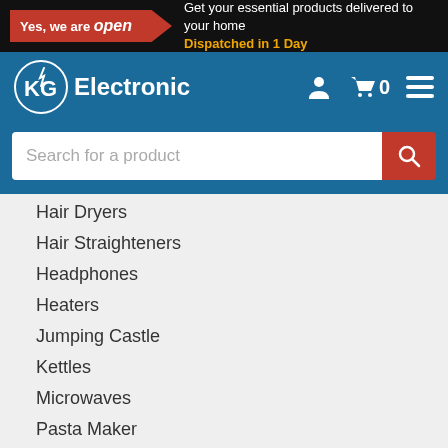Get your essential products delivered to your home. Dispatched in 1 Day
[Figure (logo): KG Electronic logo with navigation bar showing cart and menu icons]
Search for a product
Hair Dryers
Hair Straighteners
Headphones
Heaters
Jumping Castle
Kettles
Microwaves
Pasta Maker
Pet Clipper
Portable Ovens
Portable Air Conditioners
Rice Cooker
Ride Ons
Shavers
Toasters